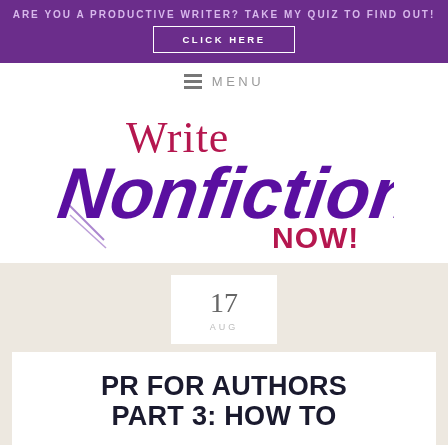ARE YOU A PRODUCTIVE WRITER? TAKE MY QUIZ TO FIND OUT!
CLICK HERE
MENU
[Figure (logo): Write Nonfiction NOW! logo — 'Write' in crimson serif, 'Nonfiction' in large purple script, 'NOW!' in bold crimson]
17
AUG
PR FOR AUTHORS PART 3: HOW TO